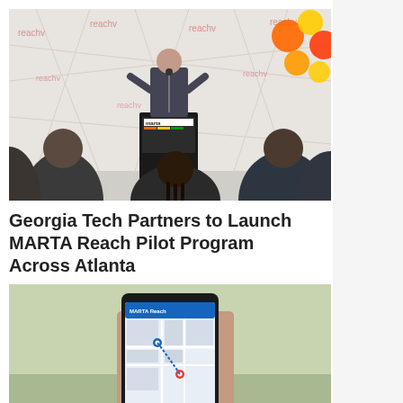[Figure (photo): Outdoor press event with a man speaking at a podium labeled 'marta', with a geometric mesh backdrop branded 'reachv', colorful balloons (orange, yellow, red) on the right, and an audience seated in front.]
Georgia Tech Partners to Launch MARTA Reach Pilot Program Across Atlanta
[Figure (photo): Close-up of a person holding a smartphone displaying the MARTA Reach app with a map interface visible on screen, blurred outdoor background.]